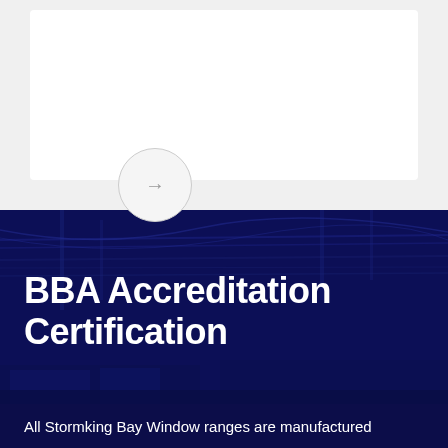[Figure (illustration): White card UI element with light grey background and a circular arrow button at the bottom left of the card, partially overlapping the card boundary]
[Figure (photo): Dark navy blue overlaid industrial/manufacturing facility photograph showing machinery, cables, and equipment in a factory setting]
BBA Accreditation Certification
All Stormking Bay Window ranges are manufactured